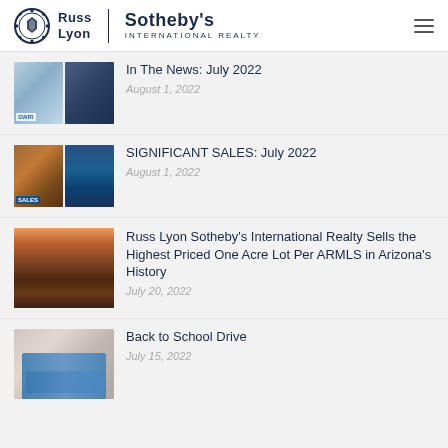Russ Lyon Sotheby's International Realty
In The News: July 2022
August 1, 2022
SIGNIFICANT SALES: July 2022
August 1, 2022
Russ Lyon Sotheby's International Realty Sells the Highest Priced One Acre Lot Per ARMLS in Arizona's History
July 20, 2022
Back to School Drive
July 15, 2022